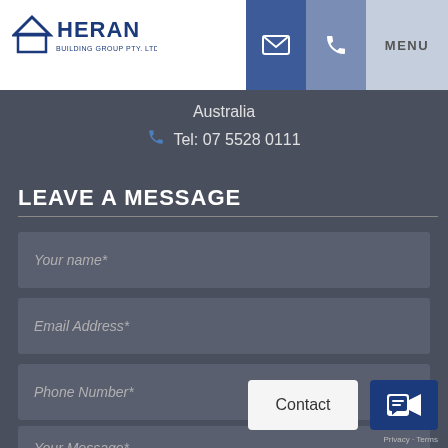[Figure (logo): Heran Building Group Pty. Ltd. logo with house icon]
MENU
Australia
Tel: 07 5528 0111
LEAVE A MESSAGE
Your name*
Email Address*
Phone Number*
Your Message*
Contact
Privacy · Terms